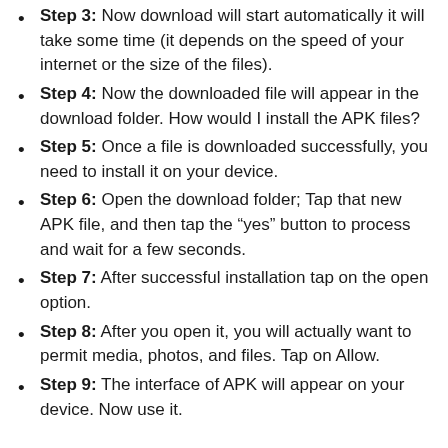Step 3: Now download will start automatically it will take some time (it depends on the speed of your internet or the size of the files).
Step 4: Now the downloaded file will appear in the download folder. How would I install the APK files?
Step 5: Once a file is downloaded successfully, you need to install it on your device.
Step 6: Open the download folder; Tap that new APK file, and then tap the “yes” button to process and wait for a few seconds.
Step 7: After successful installation tap on the open option.
Step 8: After you open it, you will actually want to permit media, photos, and files. Tap on Allow.
Step 9: The interface of APK will appear on your device. Now use it.